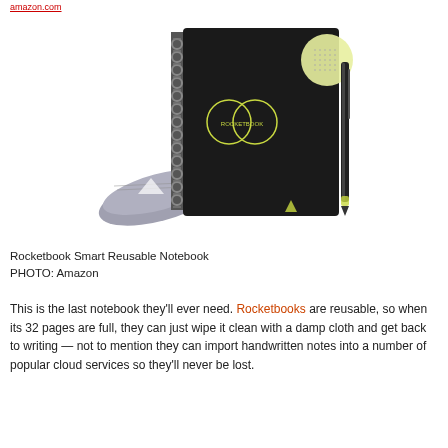amazon.com
[Figure (photo): Rocketbook Smart Reusable Notebook product photo showing a black spiral-bound notebook with a pen and grey microfiber cloth, with a small dotted page visible in the top right corner]
Rocketbook Smart Reusable Notebook
PHOTO: Amazon
This is the last notebook they'll ever need. Rocketbooks are reusable, so when its 32 pages are full, they can just wipe it clean with a damp cloth and get back to writing — not to mention they can import handwritten notes into a number of popular cloud services so they'll never be lost.